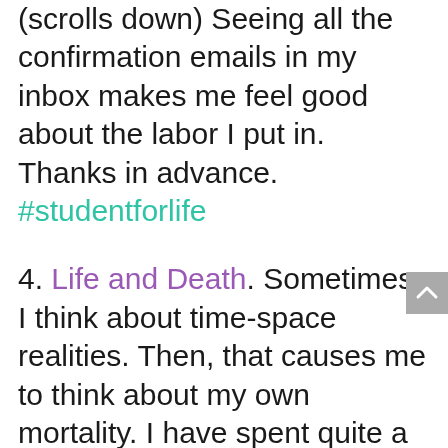(scrolls down) Seeing all the confirmation emails in my inbox makes me feel good about the labor I put in. Thanks in advance. #studentforlife
4. Life and Death. Sometimes, I think about time-space realities. Then, that causes me to think about my own mortality. I have spent quite a bit of time processing death as a phase of life and being okay with it for myself and for all the deaths I have and will